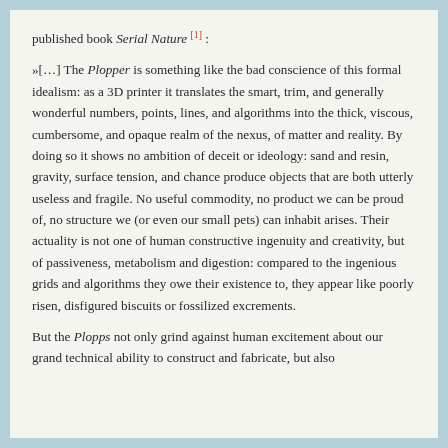published book Serial Nature [1] :
»[…] The Plopper is something like the bad conscience of this formal idealism: as a 3D printer it translates the smart, trim, and generally wonderful numbers, points, lines, and algorithms into the thick, viscous, cumbersome, and opaque realm of the nexus, of matter and reality. By doing so it shows no ambition of deceit or ideology: sand and resin, gravity, surface tension, and chance produce objects that are both utterly useless and fragile. No useful commodity, no product we can be proud of, no structure we (or even our small pets) can inhabit arises. Their actuality is not one of human constructive ingenuity and creativity, but of passiveness, metabolism and digestion: compared to the ingenious grids and algorithms they owe their existence to, they appear like poorly risen, disfigured biscuits or fossilized excrements.
But the Plopps not only grind against human excitement about our grand technical ability to construct and fabricate, but also